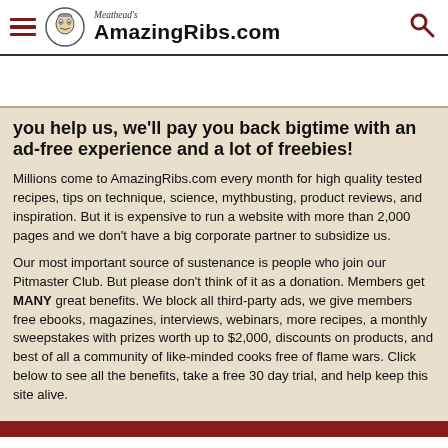Meathead's AmazingRibs.com
you help us, we'll pay you back bigtime with an ad-free experience and a lot of freebies!
Millions come to AmazingRibs.com every month for high quality tested recipes, tips on technique, science, mythbusting, product reviews, and inspiration. But it is expensive to run a website with more than 2,000 pages and we don't have a big corporate partner to subsidize us.
Our most important source of sustenance is people who join our Pitmaster Club. But please don't think of it as a donation. Members get MANY great benefits. We block all third-party ads, we give members free ebooks, magazines, interviews, webinars, more recipes, a monthly sweepstakes with prizes worth up to $2,000, discounts on products, and best of all a community of like-minded cooks free of flame wars. Click below to see all the benefits, take a free 30 day trial, and help keep this site alive.